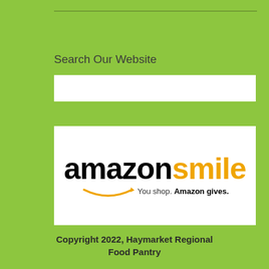Search Our Website
[Figure (logo): Amazon Smile logo with text 'amazon smile' and tagline 'You shop. Amazon gives.']
Copyright 2022, Haymarket Regional Food Pantry